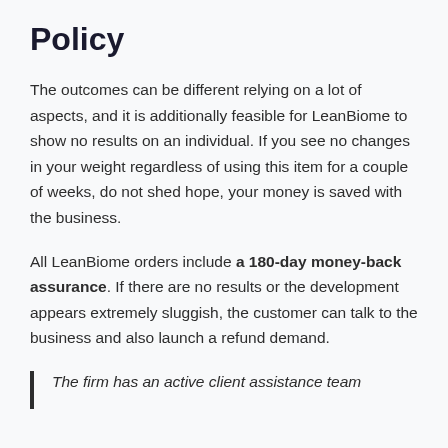Policy
The outcomes can be different relying on a lot of aspects, and it is additionally feasible for LeanBiome to show no results on an individual. If you see no changes in your weight regardless of using this item for a couple of weeks, do not shed hope, your money is saved with the business.
All LeanBiome orders include a 180-day money-back assurance. If there are no results or the development appears extremely sluggish, the customer can talk to the business and also launch a refund demand.
The firm has an active client assistance team